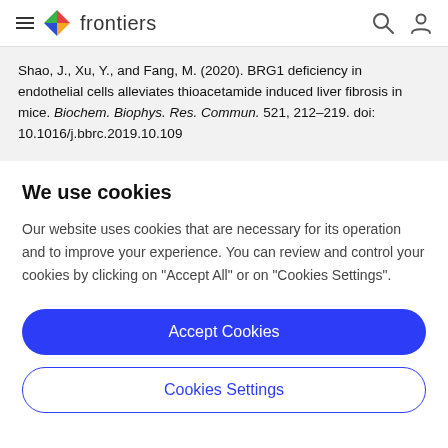frontiers
Shao, J., Xu, Y., and Fang, M. (2020). BRG1 deficiency in endothelial cells alleviates thioacetamide induced liver fibrosis in mice. Biochem. Biophys. Res. Commun. 521, 212–219. doi: 10.1016/j.bbrc.2019.10.109
We use cookies
Our website uses cookies that are necessary for its operation and to improve your experience. You can review and control your cookies by clicking on "Accept All" or on "Cookies Settings".
Accept Cookies
Cookies Settings